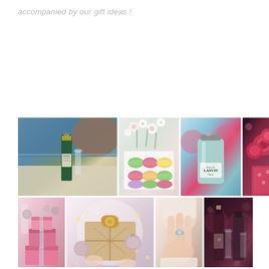accompanied by our gift ideas !
[Figure (photo): Grid of 8 lifestyle gift photos: champagne bottle by the sea, macarons and flowers, perfume bottle, roses bouquet, pink gift boxes with ornaments, hands holding a gold wrapped present with baubles, hands with ring, bottles and glasses in dim light]
accompanied by our gift ideas !